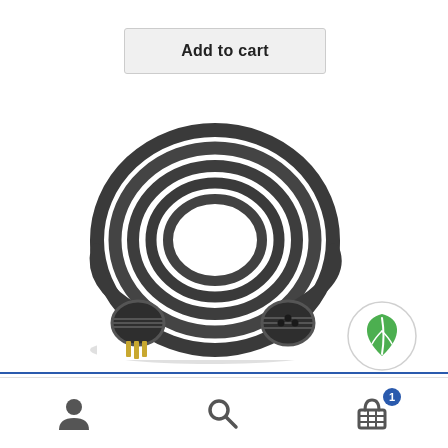Add to cart
[Figure (photo): Coiled black lamp cord extension with gold prong plug end and sealed female connector end, 25 feet long, Lock & Seal type]
[Figure (logo): Green leaf eco badge icon on white circular background]
Lamp Cord Extension, 25', Lock & Seal
[Figure (other): Bottom navigation bar with user account icon, search icon, and shopping cart icon with badge showing 1 item]